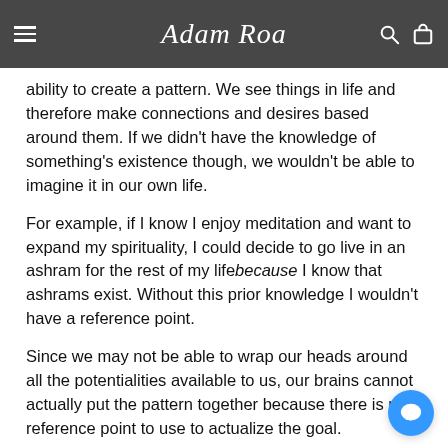Adam Roa (navigation bar with logo)
ability to create a pattern. We see things in life and therefore make connections and desires based around them. If we didn't have the knowledge of something's existence though, we wouldn't be able to imagine it in our own life.
For example, if I know I enjoy meditation and want to expand my spirituality, I could decide to go live in an ashram for the rest of my lifebecause I know that ashrams exist. Without this prior knowledge I wouldn't have a reference point.
Since we may not be able to wrap our heads around all the potentialities available to us, our brains cannot actually put the pattern together because there is no reference point to use to actualize the goal.
Therefore, if you want to create bigger dreams goals for yourself, your job is to find ways to